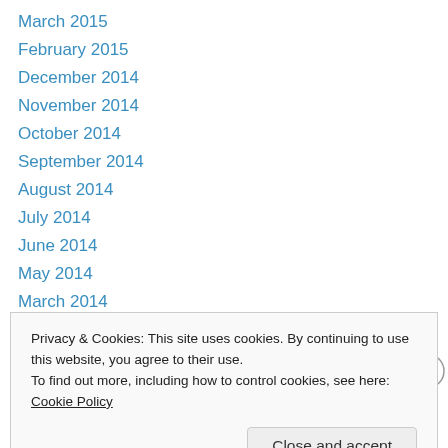March 2015
February 2015
December 2014
November 2014
October 2014
September 2014
August 2014
July 2014
June 2014
May 2014
March 2014
February 2014
January 2014
Privacy & Cookies: This site uses cookies. By continuing to use this website, you agree to their use. To find out more, including how to control cookies, see here: Cookie Policy